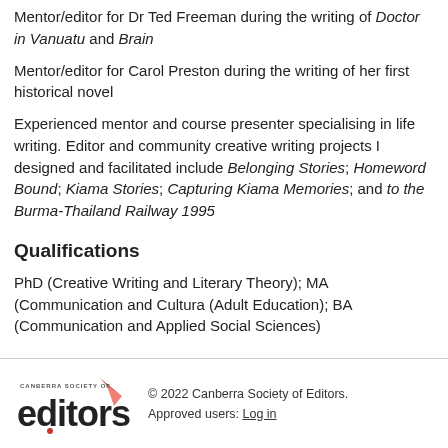Mentor/editor for Dr Ted Freeman during the writing of Doctor in Vanuatu and Brain
Mentor/editor for Carol Preston during the writing of her first historical novel
Experienced mentor and course presenter specialising in life writing. Editor and community creative writing projects I designed and facilitated include Belonging Stories; Homeword Bound; Kiama Stories; Capturing Kiama Memories; and to the Burma-Thailand Railway 1995
Qualifications
PhD (Creative Writing and Literary Theory); MA (Communication and Cultural (Adult Education); BA (Communication and Applied Social Sciences)
© 2022 Canberra Society of Editors. Approved users: Log in